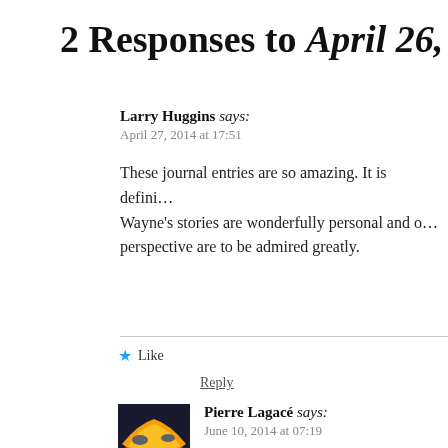2 Responses to April 26, 194…
Larry Huggins says:
April 27, 2014 at 17:51

These journal entries are so amazing. It is defini… Wayne's stories are wonderfully personal and o… perspective are to be admired greatly.
Like
Reply
Pierre Lagacé says:
June 10, 2014 at 07:19

I concur
[Figure (photo): Small avatar image showing a blue and yellow flag or similar design]